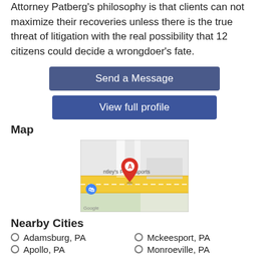Attorney Patberg's philosophy is that clients can not maximize their recoveries unless there is the true threat of litigation with the real possibility that 12 citizens could decide a wrongdoer's fate.
Send a Message
View full profile
Map
[Figure (map): Google Maps screenshot showing a red pin marker labeled 'A' near Bentley's Powersports, with a road and a blue shopping location marker visible.]
Nearby Cities
Adamsburg, PA
Apollo, PA
Mckeesport, PA
Monroeville, PA